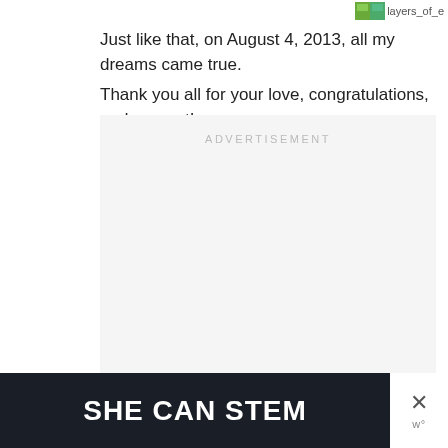layers_of_e
Just like that, on August 4, 2013, all my dreams came true. Thank you all for your love, congratulations, and support!
[Figure (other): Advertisement placeholder box with light gray background and 'ADVERTISEMENT' label at top]
[Figure (other): Banner advertisement with dark background showing 'SHE CAN STEM' in bold white text, with a close (X) button and Wordpress logo on the right]